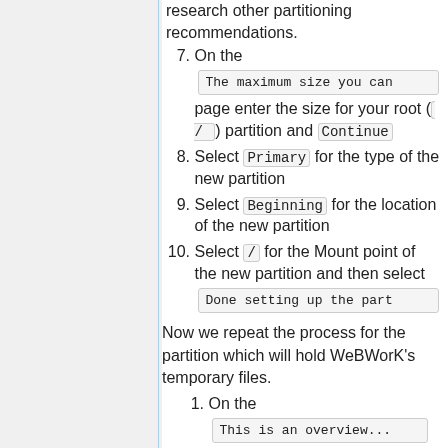research other partitioning recommendations.
7. On the The maximum size you can page enter the size for your root ( / ) partition and Continue
8. Select Primary for the type of the new partition
9. Select Beginning for the location of the new partition
10. Select / for the Mount point of the new partition and then select Done setting up the part
Now we repeat the process for the partition which will hold WeBWorK's temporary files.
1. On the This is an overview... page select FREE SPACE